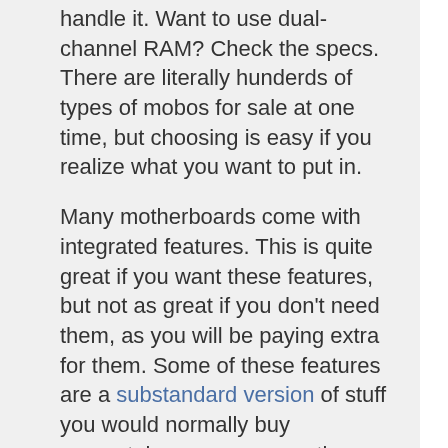handle it. Want to use dual-channel RAM? Check the specs. There are literally hunderds of types of mobos for sale at one time, but choosing is easy if you realize what you want to put in.
Many motherboards come with integrated features. This is quite great if you want these features, but not as great if you don't need them, as you will be paying extra for them. Some of these features are a substandard version of stuff you would normally buy separately, some are exactly as good.
The hard drive
This is what you store your stuff on. Hard drives have